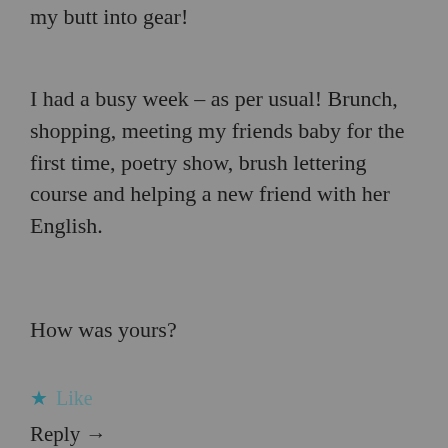my butt into gear!
I had a busy week – as per usual! Brunch, shopping, meeting my friends baby for the first time, poetry show, brush lettering course and helping a new friend with her English.
How was yours?
★ Like
Reply →
DANA @ IVEGOTCAKE
October 26, 2016 at 12:54 pm